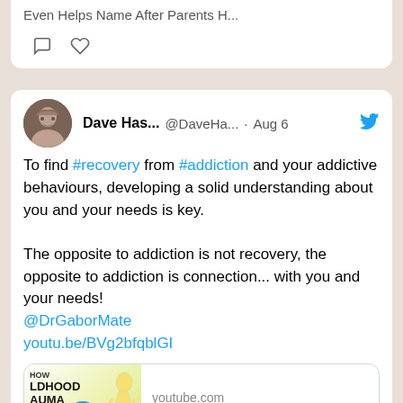[Figure (screenshot): Top portion of a tweet card showing partial text and interaction icons (comment and like buttons)]
Dave Has... @DaveHa... · Aug 6
To find #recovery from #addiction and your addictive behaviours, developing a solid understanding about you and your needs is key.

The opposite to addiction is not recovery, the opposite to addiction is connection... with you and your needs! @DrGaborMate youtu.be/BVg2bfqblGI
[Figure (screenshot): YouTube link card showing thumbnail of 'How Childhood Trauma Leads to Addiction' by Dr. Gabor Maté with play button, youtube.com source and title 'How Childhood Trauma Leads to ...']